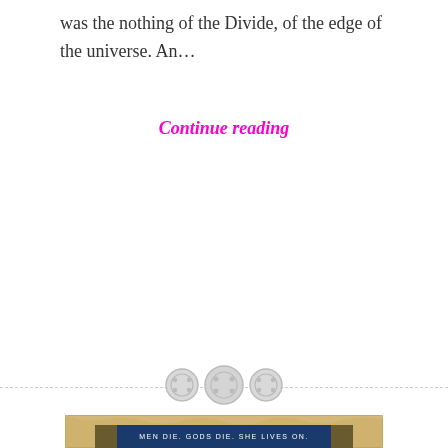was the nothing of the Divide, of the edge of the universe. An…
Continue reading
[Figure (illustration): Three decorative button-like circular icons arranged horizontally on a dashed divider line, used as a section separator.]
[Figure (photo): Book cover showing a dark navy background with an ornate golden snake/serpent knotwork design forming a woman's hair. Text at top reads 'MEN DIE. GODS DIE. SHE LIVES ON.' and at the bottom the title begins with 'The' in stylized script. The cover is shown inside a decorative aged parchment-style border with Celtic knotwork patterns on the sides.]